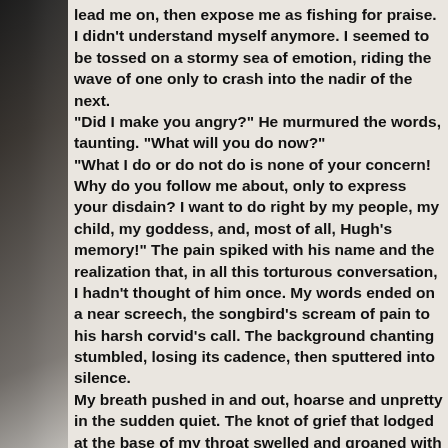lead me on, then expose me as fishing for praise. I didn't understand myself anymore. I seemed to be tossed on a stormy sea of emotion, riding the wave of one only to crash into the nadir of the next.
“Did I make you angry?” He murmured the words, taunting. “What will you do now?”
“What I do or do not do is none of your concern! Why do you follow me about, only to express your disdain? I want to do right by my people, my child, my goddess, and, most of all, Hugh’s memory!” The pain spiked with his name and the realization that, in all this torturous conversation, I hadn’t thought of him once. My words ended on a near screech, the songbird’s scream of pain to his harsh corvid’s call. The background chanting stumbled, losing its cadence, then sputtered into silence.
My breath pushed in and out, hoarse and unpretty in the sudden quiet. The knot of grief that lodged at the base of my throat swelled and groaned with urgency, turning into a spinning sphere.
Now I’ll cry.